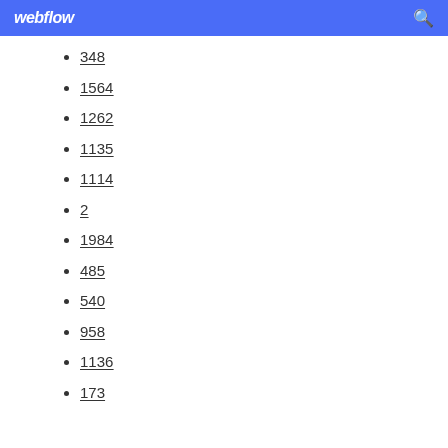webflow
348
1564
1262
1135
1114
2
1984
485
540
958
1136
173